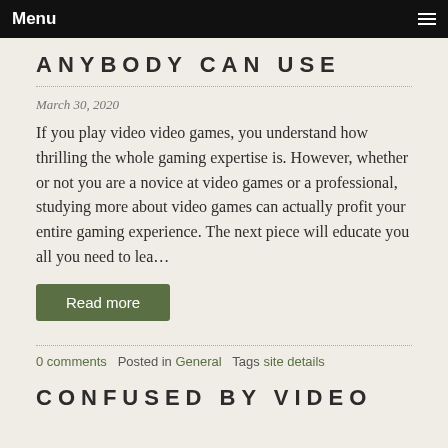Menu
ANYBODY CAN USE
March 30, 2020
If you play video video games, you understand how thrilling the whole gaming expertise is. However, whether or not you are a novice at video games or a professional, studying more about video games can actually profit your entire gaming experience. The next piece will educate you all you need to lea…
Read more
0 comments   Posted in General   Tags site details
CONFUSED BY VIDEO